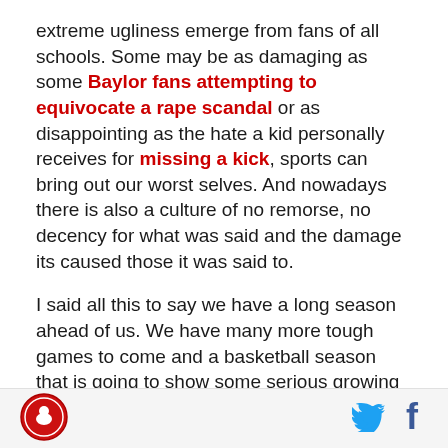extreme ugliness emerge from fans of all schools. Some may be as damaging as some Baylor fans attempting to equivocate a rape scandal or as disappointing as the hate a kid personally receives for missing a kick, sports can bring out our worst selves. And nowadays there is also a culture of no remorse, no decency for what was said and the damage its caused those it was said to.
I said all this to say we have a long season ahead of us. We have many more tough games to come and a basketball season that is going to show some serious growing pains. One thing to note is that the general feeling after SC was seemingly one based more in...
[Figure (logo): Website logo - red circular emblem with bird/figure silhouette]
[Figure (illustration): Twitter bird icon in cyan/blue]
[Figure (illustration): Facebook f icon in dark blue]